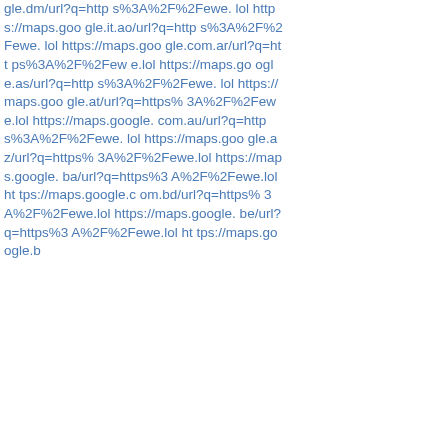gle.dm/url?q=https%3A%2F%2Fewe.lol https://maps.google.it.ao/url?q=https%3A%2F%2Fewe.lol https://maps.google.com.ar/url?q=https%3A%2F%2Fewe.lol https://maps.google.as/url?q=https%3A%2F%2Fewe.lol https://maps.google.at/url?q=https%3A%2F%2Fewe.lol https://maps.google.com.au/url?q=https%3A%2F%2Fewe.lol https://maps.google.az/url?q=https%3A%2F%2Fewe.lol https://maps.google.ba/url?q=https%3A%2F%2Fewe.lol https://maps.google.com.bd/url?q=https%3A%2F%2Fewe.lol https://maps.google.be/url?q=https%3A%2F%2Fewe.lol https://maps.google.b